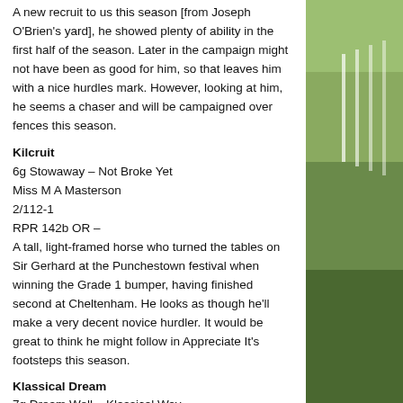A new recruit to us this season (from Joseph O'Brien's yard), he showed plenty of ability in the first half of the season. Later in the campaign might not have been as good for him, so that leaves him with a nice hurdles mark. However, looking at him, he seems a chaser and will be campaigned over fences this season.
Kilcruit
6g Stowaway – Not Broke Yet
Miss M A Masterson
2/112-1
RPR 142b OR –
A tall, light-framed horse who turned the tables on Sir Gerhard at the Punchestown festival when winning the Grade 1 bumper, having finished second at Cheltenham. He looks as though he'll make a very decent novice hurdler. It would be great to think he might follow in Appreciate It's footsteps this season.
Klassical Dream
7g Dream Well – Klassical Way
Mrs Joanne Coleman
11/135/1
RPR 171h OR 165h
He won the Supreme a couple of years ago but had